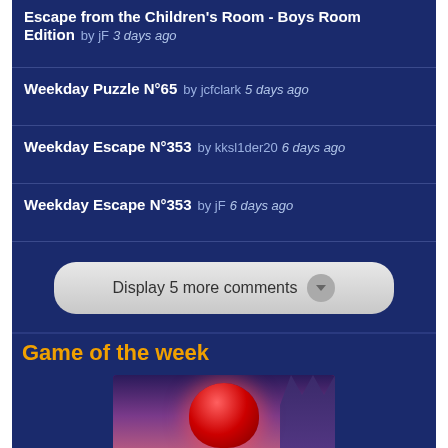Escape from the Children's Room - Boys Room Edition  by jF  3 days ago
Weekday Puzzle N°65  by jcfclark  5 days ago
Weekday Escape N°353  by kksl1der20  6 days ago
Weekday Escape N°353  by jF  6 days ago
Display 5 more comments
Game of the week
[Figure (photo): Dark Romance: Vampire Origins Collector's Edition game cover art showing a glowing red gem/heart with castle in background against a purple sky]